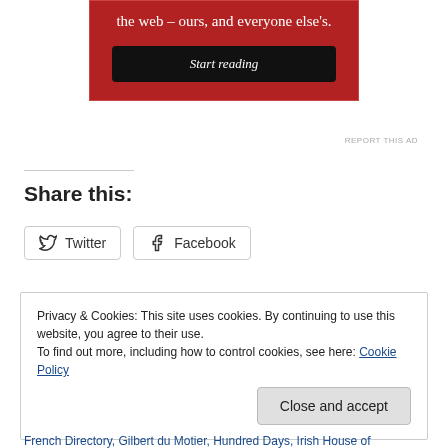[Figure (other): Advertisement banner with red background showing text 'the web – ours, and everyone else's.' and a 'Start reading' button]
REPORT THIS AD
Share this:
Twitter
Facebook
Privacy & Cookies: This site uses cookies. By continuing to use this website, you agree to their use.
To find out more, including how to control cookies, see here: Cookie Policy
French Directory, Gilbert du Motier, Hundred Days, Irish House of ...